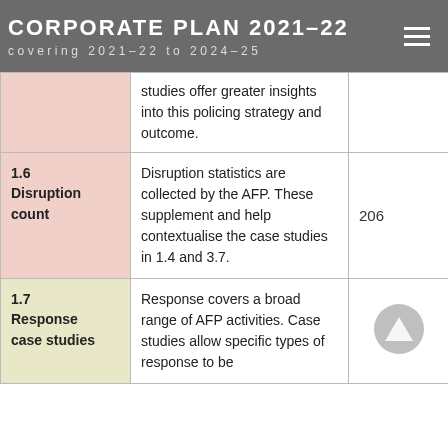CORPORATE PLAN 2021–22
covering 2021–22 to 2024–25
| Measure | Description | Value |
| --- | --- | --- |
|  | studies offer greater insights into this policing strategy and outcome. |  |
| 1.6 Disruption count | Disruption statistics are collected by the AFP. These supplement and help contextualise the case studies in 1.4 and 3.7. | 206 |
| 1.7 Response case studies | Response covers a broad range of AFP activities. Case studies allow specific types of response to be | ▲ |